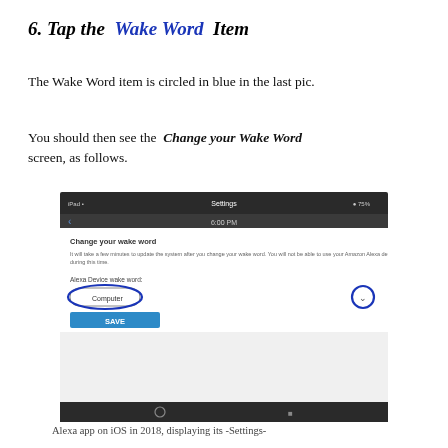6. Tap the  Wake Word  Item
The Wake Word item is circled in blue in the last pic.
You should then see the  Change your Wake Word  screen, as follows.
[Figure (screenshot): Alexa app iOS screenshot showing 'Change your wake word' settings screen with 'Computer' selected as Alexa Device wake word, a SAVE button, and a blue circle around a dropdown arrow. Dark status bar at top showing Settings, dark taskbar at bottom.]
Alexa app on iOS in 2018, displaying its -Settings-